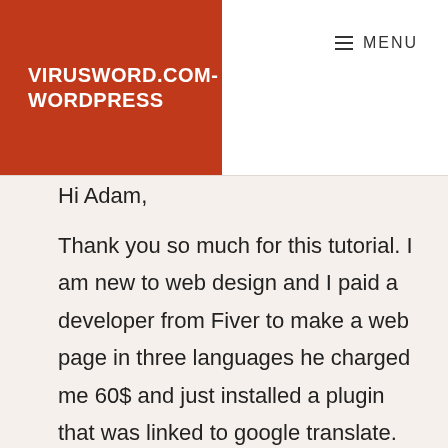VIRUSWORD.COM-WORDPRESS
MENU
Hi Adam,
Thank you so much for this tutorial. I am new to web design and I paid a developer from Fiver to make a web page in three languages he charged me 60$ and just installed a plugin that was linked to google translate. The translation was so bad. I told him and asked if there was no other option. And he said "nope". SMH. So I